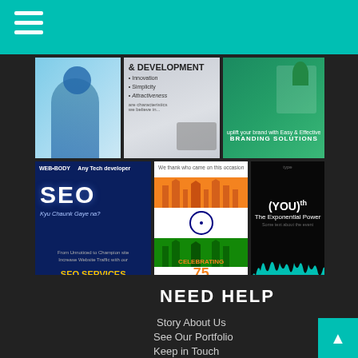Navigation menu header bar with hamburger icon
[Figure (screenshot): Six portfolio/promotional images in a 2x3 grid: row 1 shows a blue artistic figure, a web development banner with '& DEVELOPMENT - Innovation, Simplicity, Attractiveness', and a branding solutions image with green tree. Row 2 shows a dark blue SEO services banner 'Kyu Chaunk Gaye na? From Unnoticed to Champion site Increase Website Traffic with our SEO SERVICES', an Indian independence day image with flag motif 'CELEBRATING 75', and a black motivational image '(YOU)th The Exponential Power' with teal crowd silhouette.]
NEED HELP
Story About Us
See Our Portfolio
Keep in Touch